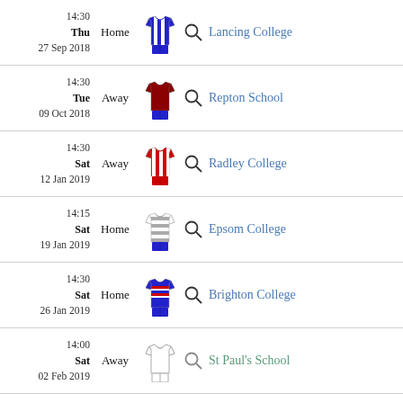14:30 Thu 27 Sep 2018 Home Lancing College
14:30 Tue 09 Oct 2018 Away Repton School
14:30 Sat 12 Jan 2019 Away Radley College
14:15 Sat 19 Jan 2019 Home Epsom College
14:30 Sat 26 Jan 2019 Home Brighton College
14:00 Sat 02 Feb 2019 Away St Paul's School